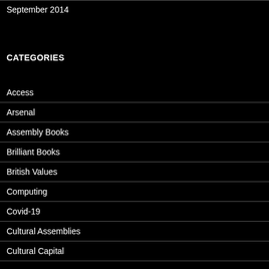September 2014
CATEGORIES
Access
Arsenal
Assembly Books
Brilliant Books
British Values
Computing
Covid-19
Cultural Assemblies
Cultural Capital